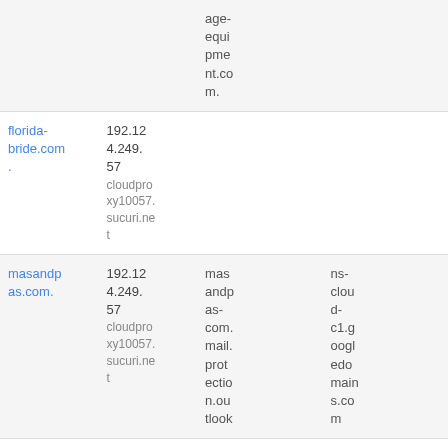| Domain | IP / Host | MX | NS |
| --- | --- | --- | --- |
|  | age-equipment.com. |  |  |
| florida-bride.com. | 192.124.249.57
cloudproxy10057.sucuri.net |  |  |
| masandpas.com. | 192.124.249.57
cloudproxy10057.sucuri.net | masandpas-com.mail.protection.outlook | ns-cloud-c1.googledomains.com |